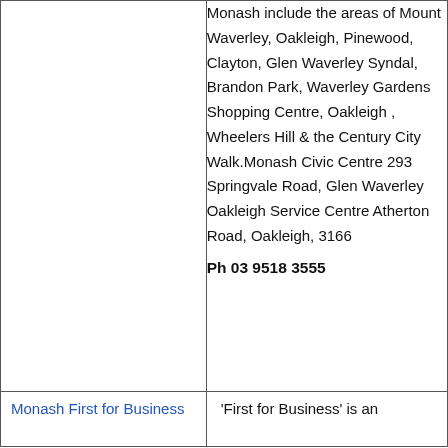Monash include the areas of Mount Waverley, Oakleigh, Pinewood, Clayton, Glen Waverley Syndal, Brandon Park, Waverley Gardens Shopping Centre, Oakleigh , Wheelers Hill & the Century City Walk.Monash Civic Centre 293 Springvale Road, Glen Waverley Oakleigh Service Centre Atherton Road, Oakleigh, 3166 Ph 03 9518 3555
Monash First for Business
'First for Business' is an